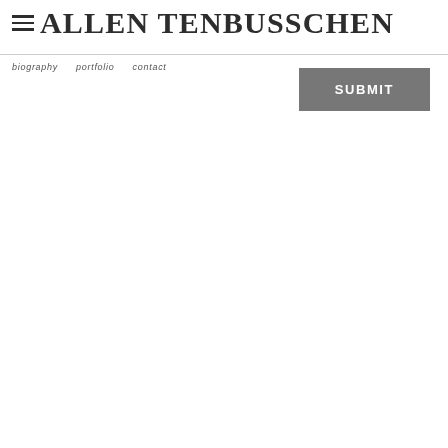ALLEN TENBUSSCHEN
[Figure (other): SUBMIT button, gray background, white text]
SUBMIT